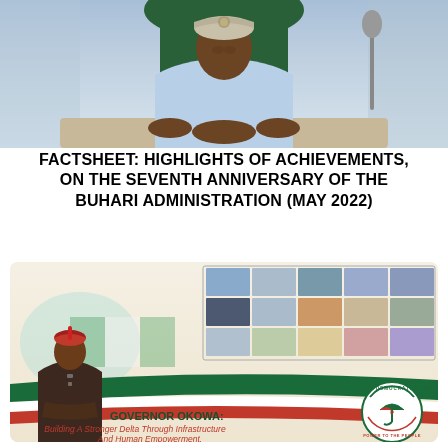[Figure (photo): Photograph of a person (President Buhari) seated at a desk, wearing a light blue traditional outfit, with hands clasped on the desk. Background shows a green chair and a microphone.]
FACTSHEET: HIGHLIGHTS OF ACHIEVEMENTS, ON THE SEVENTH ANNIVERSARY OF THE BUHARI ADMINISTRATION (MAY 2022)
[Figure (infographic): Promotional banner for Governor Okowa of Delta State. Features a photo of Governor Okowa in traditional attire with a red cap standing against a backdrop of collaged infrastructure photos, decorative green/white/red ribbon stripes, and the PDP (Peoples Democratic Party) logo. Text reads: GOVERNOR OKOWA: Building A Stronger Delta Through Infrastructure And Human Empowerment.]